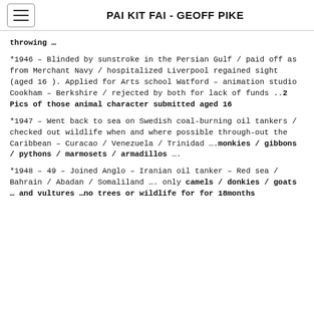PAI KIT FAI - GEOFF PIKE
throwing …
*1946 – Blinded by sunstroke in the Persian Gulf / paid off as from Merchant Navy / hospitalized Liverpool regained sight (aged 16). Applied for Arts school Watford – animation studio Cookham – Berkshire / rejected by both for lack of funds ..2 Pics of those animal character submitted aged 16
*1947 – Went back to sea on Swedish coal-burning oil tankers / checked out wildlife when and where possible through-out the Caribbean – Curacao  / Venezuela / Trinidad ….monkies / gibbons / pythons / marmosets / armadillos ….
*1948 – 49 – Joined Anglo – Iranian oil tanker – Red sea / Bahrain / Abadan / Somaliland …. only camels / donkies / goats … and vultures …no trees or wildlife for for 18months